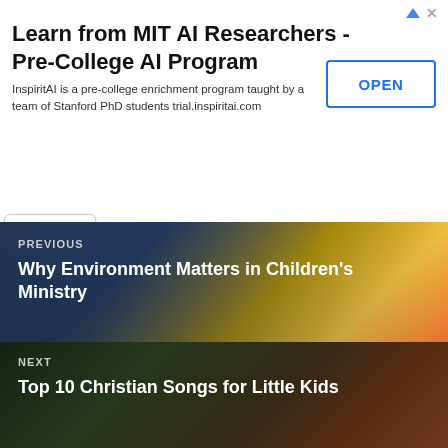[Figure (screenshot): Advertisement banner for InspiritAI Pre-College AI Program with OPEN button]
Notify me of follow-up comments by email.
Notify me of new posts by email.
POST COMMENT
PREVIOUS
Why Environment Matters in Children's Ministry
NEXT
Top 10 Christian Songs for Little Kids